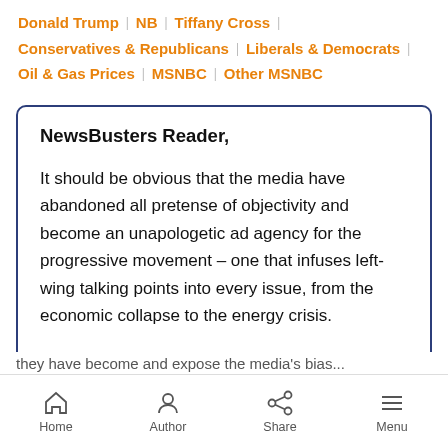Donald Trump | NB | Tiffany Cross | Conservatives & Republicans | Liberals & Democrats | Oil & Gas Prices | MSNBC | Other MSNBC
NewsBusters Reader,

It should be obvious that the media have abandoned all pretense of objectivity and become an unapologetic ad agency for the progressive movement – one that infuses left-wing talking points into every issue, from the economic collapse to the energy crisis.

They're not even trying to get it right anymore.
Home | Author | Share | Menu